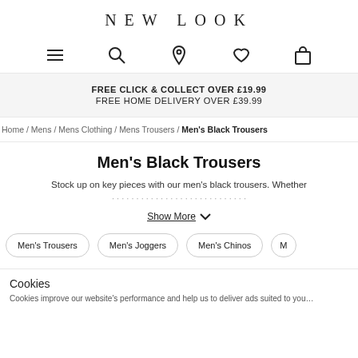NEW LOOK
[Figure (infographic): Navigation icons: hamburger menu, search, location pin, heart/wishlist, shopping bag]
FREE CLICK & COLLECT OVER £19.99
FREE HOME DELIVERY OVER £39.99
Home / Mens / Mens Clothing / Mens Trousers / Men's Black Trousers
Men's Black Trousers
Stock up on key pieces with our men's black trousers. Whether ...
Show More
Men's Trousers
Men's Joggers
Men's Chinos
M
Cookies
Cookies improve our website's performance and help us to deliver ads suited to you ...